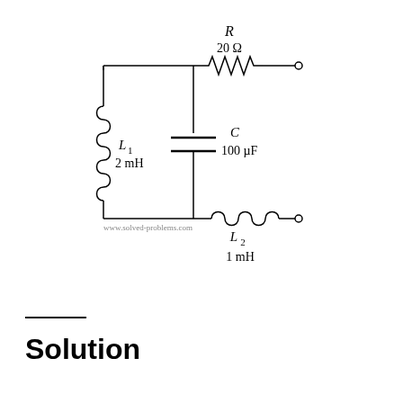[Figure (circuit-diagram): RLC circuit diagram with inductor L1 (2 mH) on the left branch, capacitor C (100 µF) in the middle branch, resistor R (20 Ω) in series on top right, and inductor L2 (1 mH) on the bottom right. Two open terminals on the right side.]
Solution